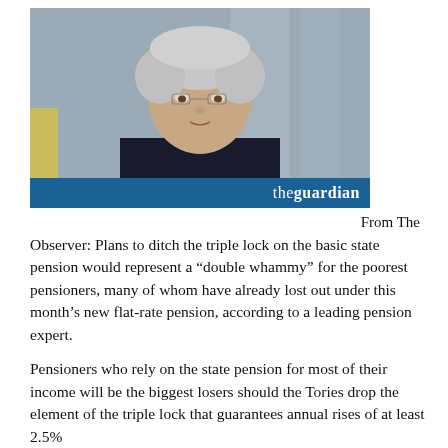[Figure (photo): Photograph of a woman with short grey-white hair wearing a dark jacket, standing in an indoor setting. The Guardian logo appears in a blue bar across the bottom of the image.]
From The Observer: Plans to ditch the triple lock on the basic state pension would represent a “double whammy” for the poorest pensioners, many of whom have already lost out under this month’s new flat-rate pension, according to a leading pension expert.
Pensioners who rely on the state pension for most of their income will be the biggest losers should the Tories drop the element of the triple lock that guarantees annual rises of at least 2.5%